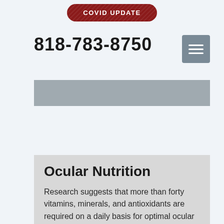[Figure (other): Red pill-shaped COVID UPDATE button]
818-783-8750
[Figure (other): Gray hamburger menu button with three white lines]
[Figure (other): Gray navigation banner bar]
Ocular Nutrition
Research suggests that more than forty vitamins, minerals, and antioxidants are required on a daily basis for optimal ocular health and